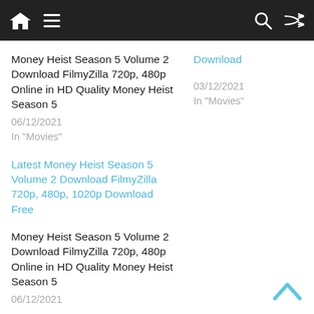Navigation bar with home, menu, search, and shuffle icons
Money Heist Season 5 Volume 2 Download FilmyZilla 720p, 480p Online in HD Quality Money Heist Season 5
06/12/2021
In "Movies"
Download
03/12/2021
In "Movies"
Latest Money Heist Season 5 Volume 2 Download FilmyZilla 720p, 480p, 1020p Download Free
Money Heist Season 5 Volume 2 Download FilmyZilla 720p, 480p Online in HD Quality Money Heist Season 5
06/12/2021